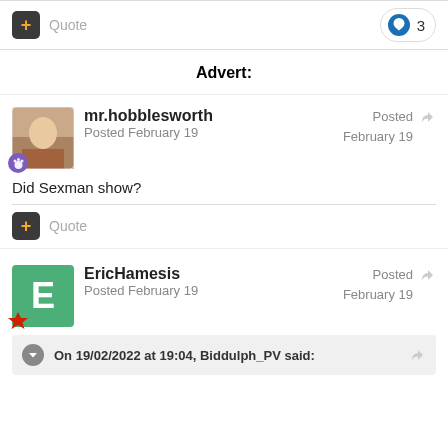Quote  [like button: 3]
Advert:
mr.hobblesworth
Posted February 19
Posted February 19
Did Sexman show?
Quote
EricHamesis
Posted February 19
Posted February 19
On 19/02/2022 at 19:04, Biddulph_PV said: